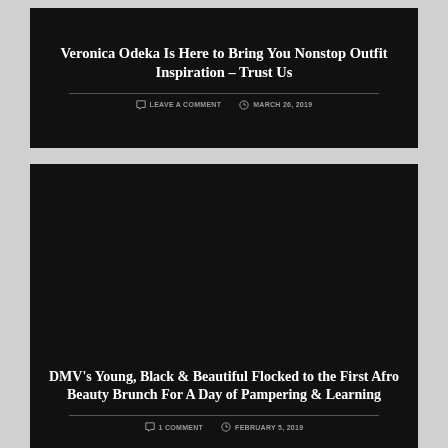Veronica Odeka Is Here to Bring You Nonstop Outfit Inspiration – Trust Us
LEAVE A COMMENT   MARCH 26, 2019
[Figure (photo): Dark black card background for DMV article]
DMV's Young, Black & Beautiful Flocked to the First Afro Beauty Brunch For A Day of Pampering & Learning
1 COMMENT   FEBRUARY 5, 2019